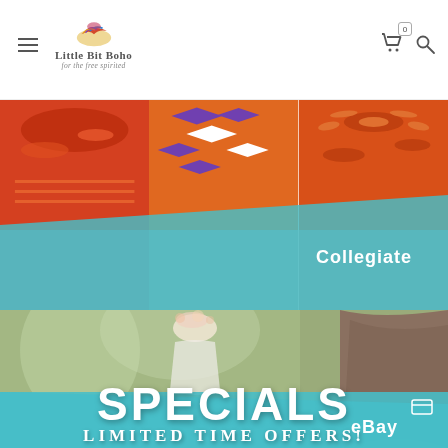Little Bit Boho - for the free spirited
[Figure (photo): Three pairs of legs wearing colorful patterned socks/leggings in orange, teal, blue geometric and floral patterns against white background]
Collegiate
[Figure (photo): Young woman with flower crown headband wearing white off-shoulder dress, standing near a tree in a blurred outdoor setting]
SPECIALS
LIMITED TIME OFFERS!
eBay